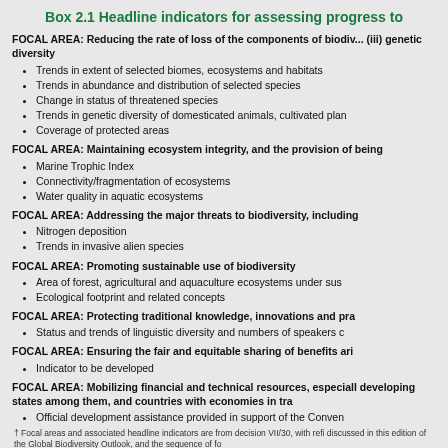Box 2.1 Headline indicators for assessing progress to
FOCAL AREA: Reducing the rate of loss of the components of biodiv... (iii) genetic diversity
Trends in extent of selected biomes, ecosystems and habitats
Trends in abundance and distribution of selected species
Change in status of threatened species
Trends in genetic diversity of domesticated animals, cultivated plan
Coverage of protected areas
FOCAL AREA: Maintaining ecosystem integrity, and the provision of being
Marine Trophic Index
Connectivity/fragmentation of ecosystems
Water quality in aquatic ecosystems
FOCAL AREA: Addressing the major threats to biodiversity, including
Nitrogen deposition
Trends in invasive alien species
FOCAL AREA: Promoting sustainable use of biodiversity
Area of forest, agricultural and aquaculture ecosystems under sus
Ecological footprint and related concepts
FOCAL AREA: Protecting traditional knowledge, innovations and pra
Status and trends of linguistic diversity and numbers of speakers c
FOCAL AREA: Ensuring the fair and equitable sharing of benefits ari
Indicator to be developed
FOCAL AREA: Mobilizing financial and technical resources, especiall developing states among them, and countries with economies in tra
Official development assistance provided in support of the Conven
† Focal areas and associated headline indicators are from decision VII/30, with refi discussed in this edition of the Global Biodiversity Outlook, and the sequence of fo
Source & © CBD